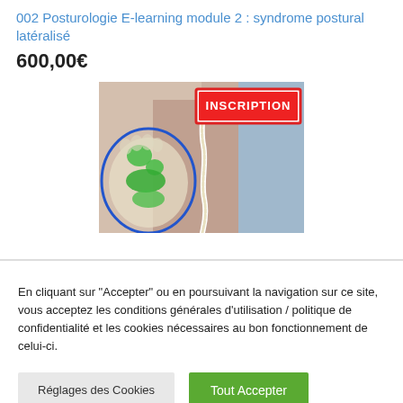002 Posturologie E-learning module 2 : syndrome postural latéralisé
600,00€
[Figure (photo): Medical image showing a person's back with a highlighted spine indicating scoliosis or postural disorder, with a foot insole diagram on the left showing green pressure zones inside a blue oval outline. An 'INSCRIPTION' button in red is overlaid at the top right of the image.]
En cliquant sur "Accepter" ou en poursuivant la navigation sur ce site, vous acceptez les conditions générales d'utilisation / politique de confidentialité et les cookies nécessaires au bon fonctionnement de celui-ci.
Réglages des Cookies
Tout Accepter